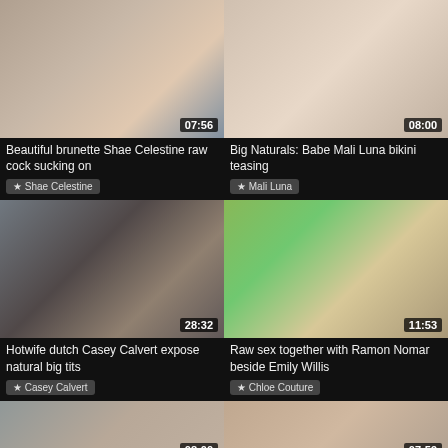[Figure (screenshot): Video thumbnail 1, duration 07:56]
Beautiful brunette Shae Celestine raw cock sucking on
★ Shae Celestine
[Figure (screenshot): Video thumbnail 2, duration 08:00]
Big Naturals: Babe Mali Luna bikini teasing
★ Mali Luna
[Figure (screenshot): Video thumbnail 3, duration 28:32]
Hotwife dutch Casey Calvert expose natural big tits
★ Casey Calvert
[Figure (screenshot): Video thumbnail 4, duration 11:53]
Raw sex together with Ramon Nomar beside Emily Willis
★ Chloe Couture
[Figure (screenshot): Video thumbnail 5, duration 08:00]
[Figure (screenshot): Video thumbnail 6, duration 07:59]